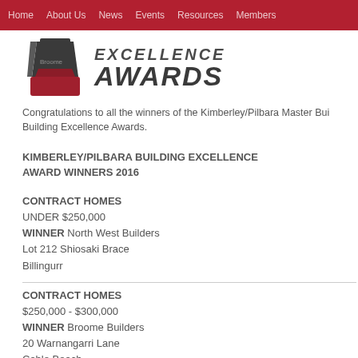Home  About Us  News  Events  Resources  Members
[Figure (logo): Kimberley/Pilbara Building Excellence Awards logo — dark trophy shape on red base with text EXCELLENCE AWARDS]
Congratulations to all the winners of the Kimberley/Pilbara Master Builders Building Excellence Awards.
KIMBERLEY/PILBARA BUILDING EXCELLENCE AWARD WINNERS 2016
CONTRACT HOMES
UNDER $250,000
WINNER North West Builders
Lot 212 Shiosaki Brace
Billingurr
CONTRACT HOMES
$250,000 - $300,000
WINNER Broome Builders
20 Warnangarri Lane
Cable Beach